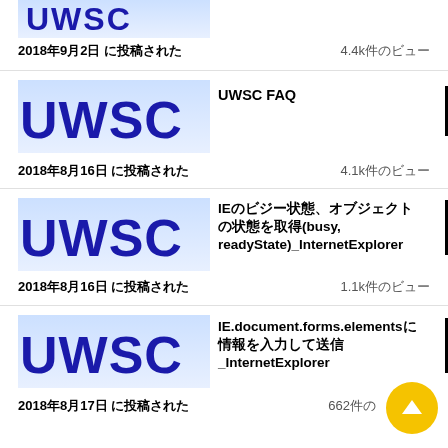[Figure (photo): UWSC logo image (partial, top)]
2018年9月2日 に投稿された
4.4k件のビュー
[Figure (photo): UWSC logo image]
UWSC FAQ
2018年8月16日 に投稿された
4.1k件のビュー
[Figure (photo): UWSC logo image]
IEのビジー状態、オブジェクトの状態を取得(busy, readyState)_InternetExplorer
2018年8月16日 に投稿された
1.1k件のビュー
[Figure (photo): UWSC logo image]
IE.document.forms.elementsに情報を入力して送信_InternetExplorer
2018年8月17日 に投稿された
662件のビュー